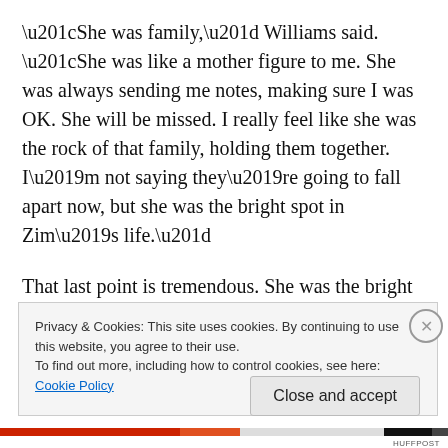“She was family,” Williams said. “She was like a mother figure to me. She was always sending me notes, making sure I was OK. She will be missed. I really feel like she was the rock of that family, holding them together. I’m not saying they’re going to fall apart now, but she was the bright spot in Zim’s life.”
That last point is tremendous. She was the bright spot in his life, the mother of his children, the one who made the brownies with the marshmallow frosting that Williams
Privacy & Cookies: This site uses cookies. By continuing to use this website, you agree to their use.
To find out more, including how to control cookies, see here: Cookie Policy
Close and accept